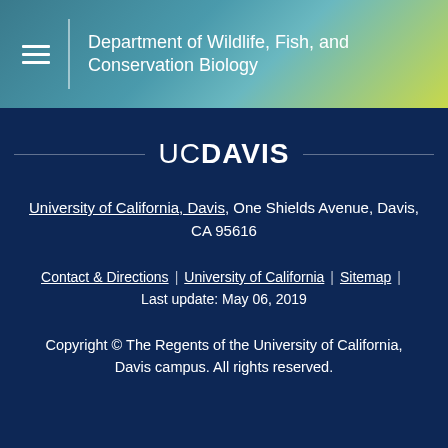Department of Wildlife, Fish, and Conservation Biology
[Figure (logo): UC Davis wordmark logo with horizontal rules on either side]
University of California, Davis, One Shields Avenue, Davis, CA 95616
Contact & Directions | University of California | Sitemap | Last update: May 06, 2019
Copyright © The Regents of the University of California, Davis campus. All rights reserved.